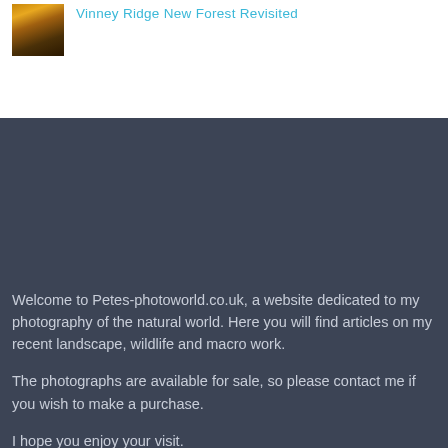[Figure (photo): Small thumbnail image showing autumn forest scene with warm golden tones]
Vinney Ridge New Forest Revisited
Welcome to Petes-photoworld.co.uk, a website dedicated to my photography of the natural world. Here you will find articles on my recent landscape, wildlife and macro work.
The photographs are available for sale, so please contact me if you wish to make a purchase.
I hope you enjoy your visit.
Petes-Photoworld.co.uk (c) is the trading name for Peter Atkinson